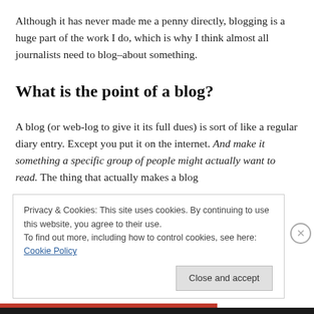Although it has never made me a penny directly, blogging is a huge part of the work I do, which is why I think almost all journalists need to blog–about something.
What is the point of a blog?
A blog (or web-log to give it its full dues) is sort of like a regular diary entry. Except you put it on the internet. And make it something a specific group of people might actually want to read. The thing that actually makes a blog
Privacy & Cookies: This site uses cookies. By continuing to use this website, you agree to their use.
To find out more, including how to control cookies, see here: Cookie Policy